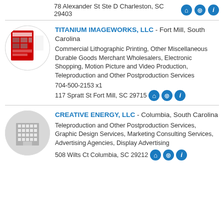78 Alexander St Ste D Charleston, SC 29403
TITANIUM IMAGEWORKS, LLC - Fort Mill, South Carolina
Commercial Lithographic Printing, Other Miscellaneous Durable Goods Merchant Wholesalers, Electronic Shopping, Motion Picture and Video Production, Teleproduction and Other Postproduction Services
704-500-2153 x1
117 Spratt St Fort Mill, SC 29715
CREATIVE ENERGY, LLC - Columbia, South Carolina
Teleproduction and Other Postproduction Services, Graphic Design Services, Marketing Consulting Services, Advertising Agencies, Display Advertising
508 Wilts Ct Columbia, SC 29212